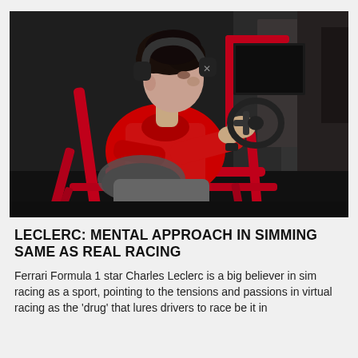[Figure (photo): A young man with curly dark hair and headphones, wearing a red Ferrari shirt, seated in a racing simulator rig with a red frame, holding a steering wheel, viewed from the side in a dark studio setting.]
LECLERC: MENTAL APPROACH IN SIMMING SAME AS REAL RACING
Ferrari Formula 1 star Charles Leclerc is a big believer in sim racing as a sport, pointing to the tensions and passions in virtual racing as the 'drug' that lures drivers to race be it in